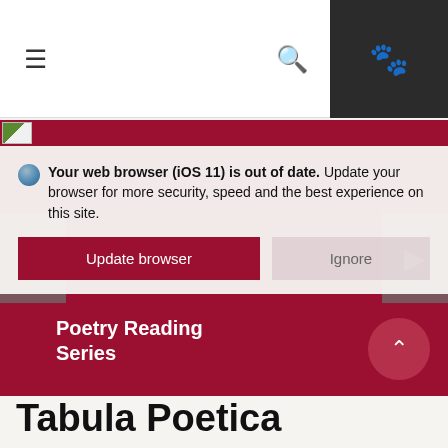[Figure (screenshot): Navigation bar with hamburger menu, search icon, and dark paw print icon box on the right]
[Figure (screenshot): Browser out-of-date warning overlay with 'Update browser' and 'Ignore' buttons, over a crimson card slider showing 'Poetry Reading Series']
Tabula Poetica